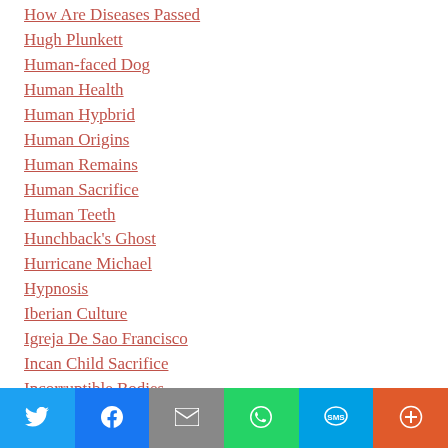How Are Diseases Passed
Hugh Plunkett
Human-faced Dog
Human Health
Human Hypbrid
Human Origins
Human Remains
Human Sacrifice
Human Teeth
Hunchback's Ghost
Hurricane Michael
Hypnosis
Iberian Culture
Igreja De Sao Francisco
Incan Child Sacrifice
Incorruptible Bodies
Indian Legend
Share buttons: Twitter, Facebook, Email, WhatsApp, SMS, More